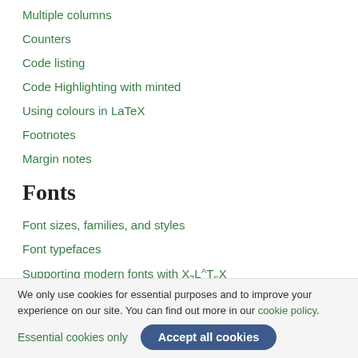Multiple columns
Counters
Code listing
Code Highlighting with minted
Using colours in LaTeX
Footnotes
Margin notes
Fonts
Font sizes, families, and styles
Font typefaces
Supporting modern fonts with XƎLaTeX
We only use cookies for essential purposes and to improve your experience on our site. You can find out more in our cookie policy.